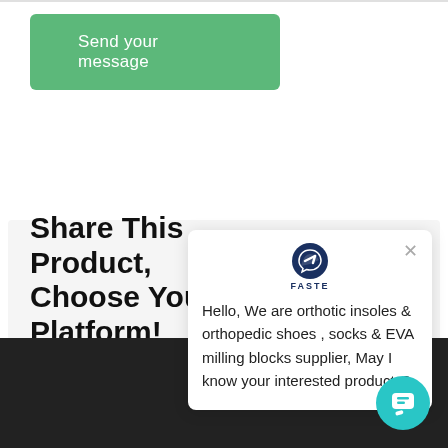[Figure (other): Green button labeled 'Send your message']
Share This Product, Choose Your Platform!
[Figure (other): Chat popup with FASTE logo and message: Hello, We are orthotic insoles & orthopedic shoes , socks & EVA milling blocks supplier, May I know your interested products?]
[Figure (other): Dark footer bar with teal chat FAB button]